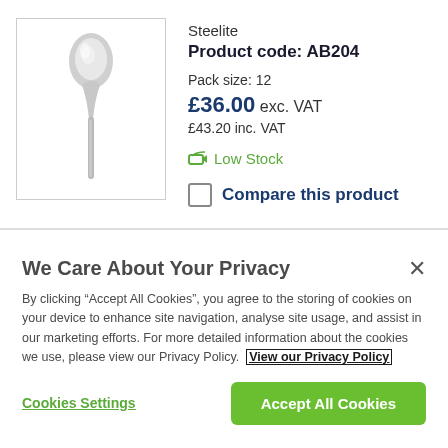[Figure (photo): Product photo of a silver spoon (Steelite cutlery) on white background inside a bordered box]
Steelite
Product code: AB204
Pack size: 12
£36.00 exc. VAT
£43.20 inc. VAT
Low Stock
Compare this product
We Care About Your Privacy
By clicking "Accept All Cookies", you agree to the storing of cookies on your device to enhance site navigation, analyse site usage, and assist in our marketing efforts. For more detailed information about the cookies we use, please view our Privacy Policy. View our Privacy Policy
Cookies Settings
Accept All Cookies